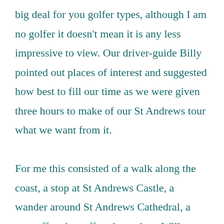big deal for you golfer types, although I am no golfer it doesn't mean it is any less impressive to view. Our driver-guide Billy pointed out places of interest and suggested how best to fill our time as we were given three hours to make of our St Andrews tour what we want from it.

For me this consisted of a walk along the coast, a stop at St Andrews Castle, a wander around St Andrews Cathedral, a stop off at the coffee shop where Wills would meet Kate, and… ahem… a half or two at St Andrews brewery (don't tell the boss). But